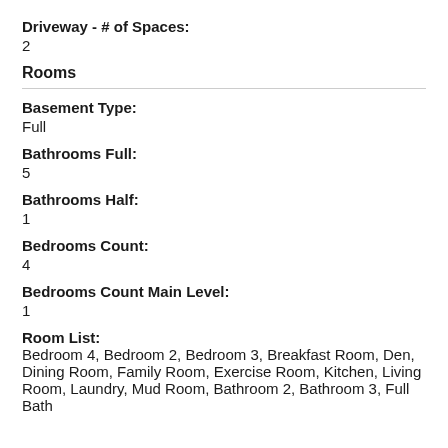Driveway - # of Spaces: 2
Rooms
Basement Type: Full
Bathrooms Full: 5
Bathrooms Half: 1
Bedrooms Count: 4
Bedrooms Count Main Level: 1
Room List: Bedroom 4, Bedroom 2, Bedroom 3, Breakfast Room, Den, Dining Room, Family Room, Exercise Room, Kitchen, Living Room, Laundry, Mud Room, Bathroom 2, Bathroom 3, Full Bath